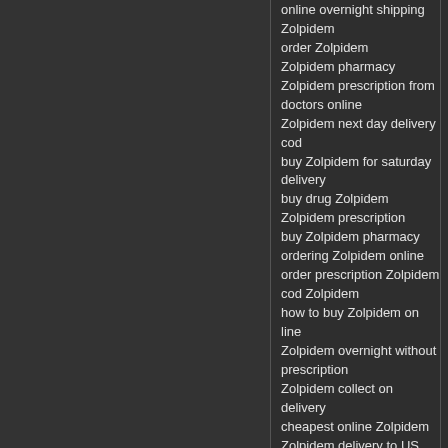online overnight shipping
Zolpidem
order Zolpidem
Zolpidem pharmacy
Zolpidem prescription from doctors online
Zolpidem next day delivery cod
buy Zolpidem for saturday delivery
buy drug Zolpidem
Zolpidem prescription
buy Zolpidem pharmacy
ordering Zolpidem online
order prescription Zolpidem
cod Zolpidem
how to buy Zolpidem on line
Zolpidem overnight without prescription
Zolpidem collect on delivery
cheapest online Zolpidem
Zolpidem delivery to US Utah
cheap Zolpidem c.o.d.
Zolpidem online not expensive
Zolpidem delivery to US North Carolina
saturday delivery Zolpidem cod
Buy Zolpidem in Virginia